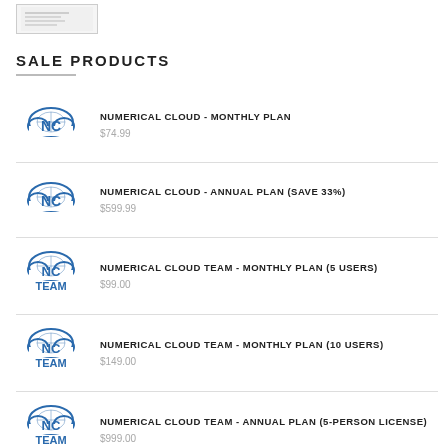[Figure (logo): Small thumbnail image of a document in top left corner]
SALE PRODUCTS
NUMERICAL CLOUD - MONTHLY PLAN
$74.99
NUMERICAL CLOUD - ANNUAL PLAN (SAVE 33%)
$599.99
NUMERICAL CLOUD TEAM - MONTHLY PLAN (5 USERS)
$99.00
NUMERICAL CLOUD TEAM - MONTHLY PLAN (10 USERS)
$149.00
NUMERICAL CLOUD TEAM - ANNUAL PLAN (5-PERSON LICENSE)
$999.00